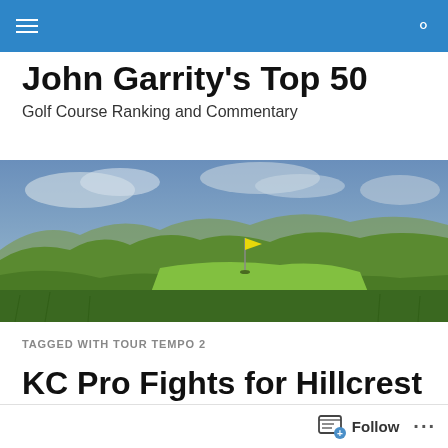John Garrity's Top 50
Golf Course Ranking and Commentary
[Figure (photo): Panoramic view of a links golf course with rolling dunes, green fairway, yellow flag pin, and overcast sky]
TAGGED WITH TOUR TEMPO 2
KC Pro Fights for Hillcrest Ranking
Follow